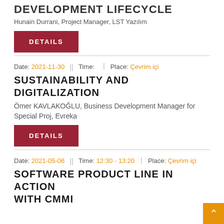DEVELOPMENT LIFECYCLE
Hunain Durrani, Project Manager, LST Yazılım
DETAILS
Date: 2021-11-30  ||  Time:  |  Place: Çevrim içi
SUSTAINABILITY AND DIGITALIZATION
Ömer KAVLAKOĞLU, Business Development Manager for Special Proj, Evreka
DETAILS
Date: 2021-05-06  ||  Time: 12:30 - 13:20  |  Place: Çevrim içi
SOFTWARE PRODUCT LINE IN ACTION WITH CMMI